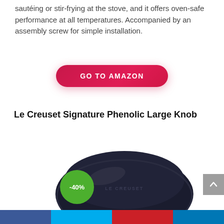sautéing or stir-frying at the stove, and it offers oven-safe performance at all temperatures. Accompanied by an assembly screw for simple installation.
GO TO AMAZON
Le Creuset Signature Phenolic Large Knob
[Figure (photo): Dark navy/black Le Creuset phenolic large knob, oval disc shape with Le Creuset logo embossed, shown from above at a slight angle. A green circle badge shows -40% discount.]
Social share bar with Facebook, Twitter, Pinterest, LinkedIn icons